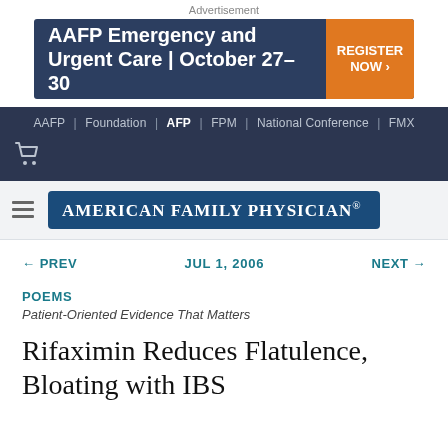Advertisement
[Figure (other): AAFP Emergency and Urgent Care | October 27-30 advertisement banner with Register Now button]
AAFP | Foundation | AFP | FPM | National Conference | FMX
[Figure (logo): American Family Physician logo with hamburger menu icon]
← PREV   JUL 1, 2006   NEXT →
POEMS
Patient-Oriented Evidence That Matters
Rifaximin Reduces Flatulence, Bloating with IBS